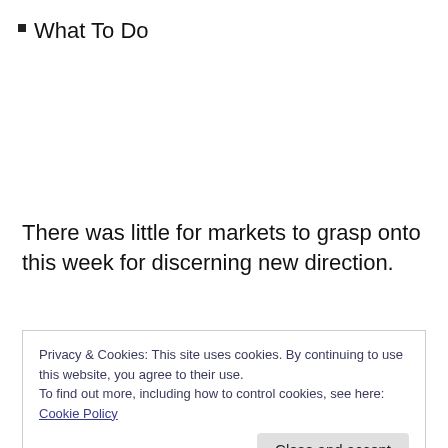What To Do
There was little for markets to grasp onto this week for discerning new direction.
Privacy & Cookies: This site uses cookies. By continuing to use this website, you agree to their use.
To find out more, including how to control cookies, see here: Cookie Policy